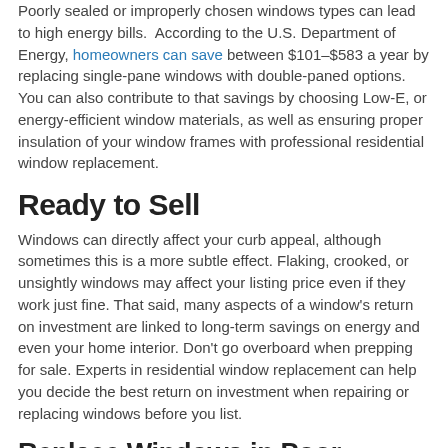Poorly sealed or improperly chosen windows types can lead to high energy bills. According to the U.S. Department of Energy, homeowners can save between $101–$583 a year by replacing single-pane windows with double-paned options. You can also contribute to that savings by choosing Low-E, or energy-efficient window materials, as well as ensuring proper insulation of your window frames with professional residential window replacement.
Ready to Sell
Windows can directly affect your curb appeal, although sometimes this is a more subtle effect. Flaking, crooked, or unsightly windows may affect your listing price even if they work just fine. That said, many aspects of a window's return on investment are linked to long-term savings on energy and even your home interior. Don't go overboard when prepping for sale. Experts in residential window replacement can help you decide the best return on investment when repairing or replacing windows before you list.
Replace Windows in Poor Condition
Windows that are damaged are not always repairable. If you cannot replace a damaged window, it's definitely time for a residential